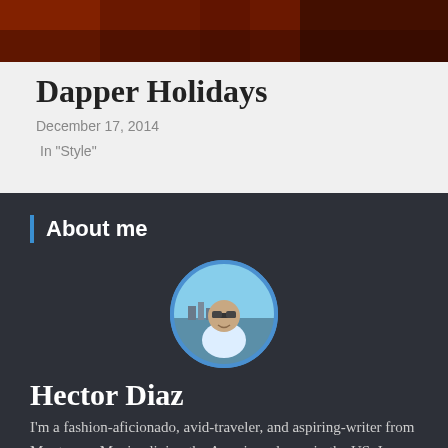[Figure (photo): Top portion of a photo showing dark clothing against a brown/red background, partially cropped at top of page]
Dapper Holidays
December 17, 2014
In "Style"
About me
[Figure (photo): Circular profile photo of Hector Diaz wearing sunglasses outdoors with city skyline and water in background]
Hector Diaz
I'm a fashion-aficionado, avid-traveler, and aspiring-writer from Monterrey, Mexico living the American dream in the US. I